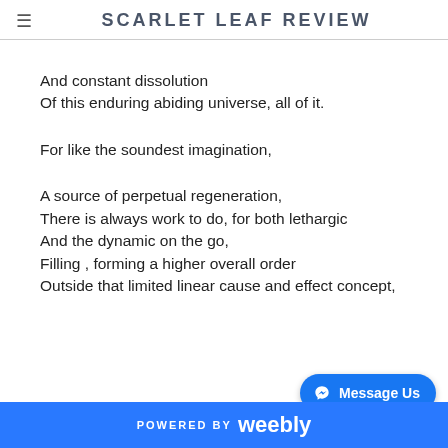SCARLET LEAF REVIEW
And constant dissolution
Of this enduring abiding universe, all of it.
For like the soundest imagination,
A source of perpetual regeneration,
There is always work to do, for both lethargic
And the dynamic on the go,
Filling , forming a higher overall order
Outside that limited linear cause and effect concept,
POWERED BY weebly